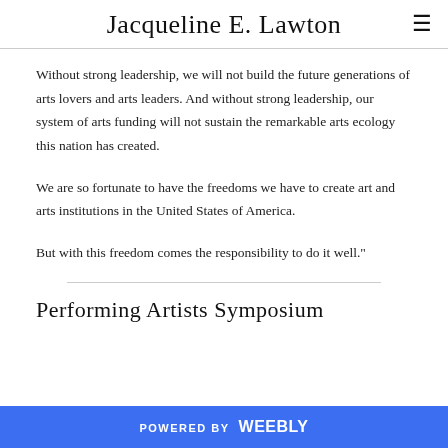Jacqueline E. Lawton
Without strong leadership, we will not build the future generations of arts lovers and arts leaders. And without strong leadership, our system of arts funding will not sustain the remarkable arts ecology this nation has created.
We are so fortunate to have the freedoms we have to create art and arts institutions in the United States of America.
But with this freedom comes the responsibility to do it well."
Performing Artists Symposium
POWERED BY weebly